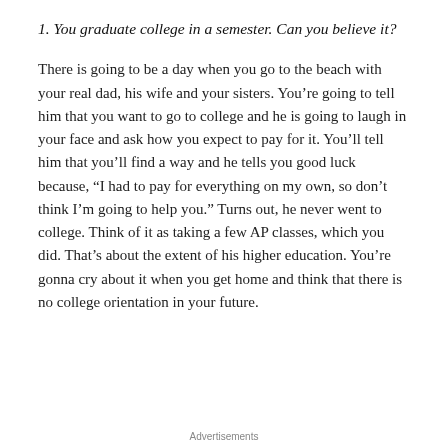1. You graduate college in a semester. Can you believe it?
There is going to be a day when you go to the beach with your real dad, his wife and your sisters. You're going to tell him that you want to go to college and he is going to laugh in your face and ask how you expect to pay for it. You'll tell him that you'll find a way and he tells you good luck because, “I had to pay for everything on my own, so don’t think I’m going to help you.” Turns out, he never went to college. Think of it as taking a few AP classes, which you did. That’s about the extent of his higher education. You’re gonna cry about it when you get home and think that there is no college orientation in your future.
Advertisements